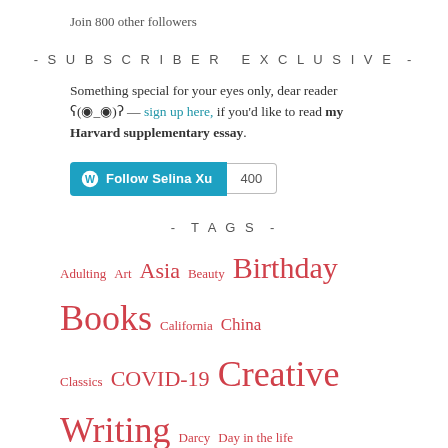Join 800 other followers
- SUBSCRIBER EXCLUSIVE -
Something special for your eyes only, dear reader ʕ(◉_◉)ʔ — sign up here, if you'd like to read my Harvard supplementary essay.
[Figure (other): Follow Selina Xu WordPress follow button with count 400]
- TAGS -
Adulting Art Asia Beauty Birthday Books California China Classics COVID-19 Creative Writing Darcy Day in the life Drama dreams Education Fiction Food Foodie Freshman Fall Freshman Spring Friendship Gap Year Harvard Harvard... Harvard Classes